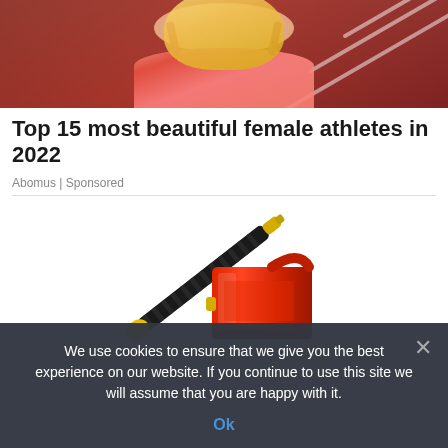[Figure (photo): Cropped photo of a blonde female athlete in a pink sports bra on a red running track]
Top 15 most beautiful female athletes in 2022
Abomus | Sponsored
[Figure (photo): Photo of a red gas can with a black flexible spout and yellow cap, on white background]
We use cookies to ensure that we give you the best experience on our website. If you continue to use this site we will assume that you are happy with it.
Ok